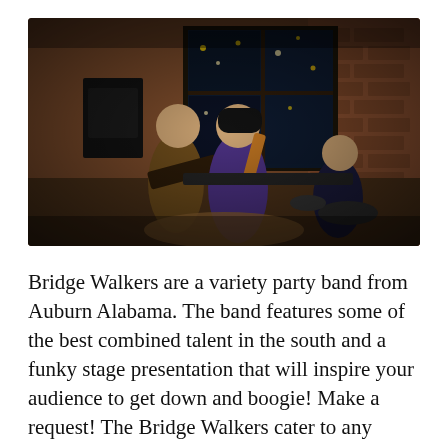[Figure (photo): A band performing indoors. Three musicians visible: a guitarist on the left wearing a brown shirt, a vocalist/saxophonist in the center wearing a purple shirt and black beanie, and a drummer on the right. They are performing in front of a large multi-pane window with lights visible outside and a brick wall backdrop. The image has a warm, dark vignette effect.]
Bridge Walkers are a variety party band from Auburn Alabama. The band features some of the best combined talent in the south and a funky stage presentation that will inspire your audience to get down and boogie! Make a request! The Bridge Walkers cater to any event. The band gives every